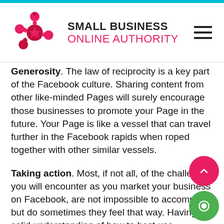SMALL BUSINESS ONLINE AUTHORITY
Generosity. The law of reciprocity is a key part of the Facebook culture. Sharing content from other like-minded Pages will surely encourage those businesses to promote your Page in the future. Your Page is like a vessel that can travel further in the Facebook rapids when roped together with other similar vessels.
Taking action. Most, if not all, of the challenges you will encounter as you market your business on Facebook, are not impossible to accomplish, but do sometimes they feel that way. Having a solid understanding of how to best use Facebook for your organization while continuously taking action is the best step forward. Doing this will allow you to continue to refine what works for